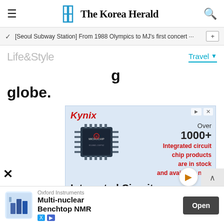The Korea Herald
[Seoul Subway Station] From 1988 Olympics to MJ's first concert ...
Life&Style
Travel
globe.
[Figure (other): Kynix advertisement showing a Microchip integrated circuit chip with text: Over 1000+ Integrated circuit chip products are in stock and available now. Integrated Circuits Supplier]
[Figure (other): Oxford Instruments advertisement: Multi-nuclear Benchtop NMR with Open button]